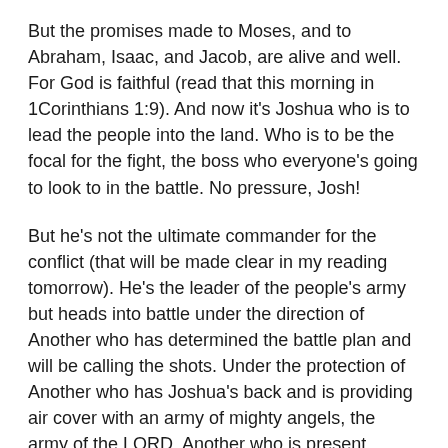But the promises made to Moses, and to Abraham, Isaac, and Jacob, are alive and well. For God is faithful (read that this morning in 1Corinthians 1:9). And now it's Joshua who is to lead the people into the land. Who is to be the focal for the fight, the boss who everyone's going to look to in the battle. No pressure, Josh!
But he's not the ultimate commander for the conflict (that will be made clear in my reading tomorrow). He's the leader of the people's army but heads into battle under the direction of Another who has determined the battle plan and will be calling the shots. Under the protection of Another who has Joshua's back and is providing air cover with an army of mighty angels, the army of the LORD. Another who is present, promising never to leave Joshua nor forsake him.